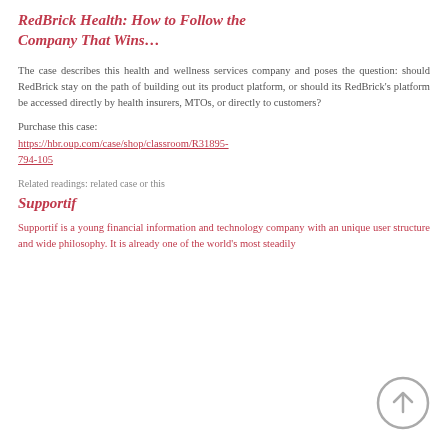RedBrick Health: How to Follow the Company That Wins…
The case describes this health and wellness services company and poses the question: should RedBrick stay on the path of building out its product platform, or should its RedBrick's platform be accessed directly by health insurers, MTOs, or directly to customers?
Purchase this case:
https://hbr.oup.com/case/shop/classroom/R31895-794-105
Related readings: related case or this
Supportif
Supportif is a young financial information and technology company with an unique user structure and wide philosophy. It is already one of the world's most steadily growing...